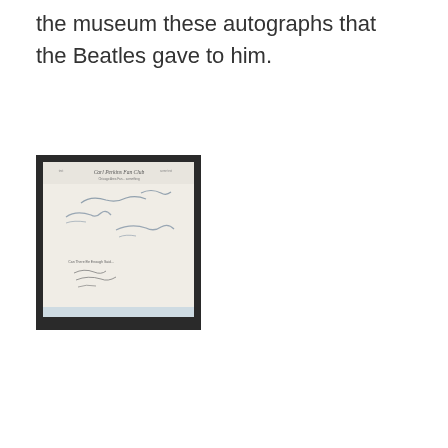the museum these autographs that the Beatles gave to him.
[Figure (photo): A framed Carl Perkins Fan Club letterhead document with multiple autographs/signatures, displayed behind glass in a dark frame.]